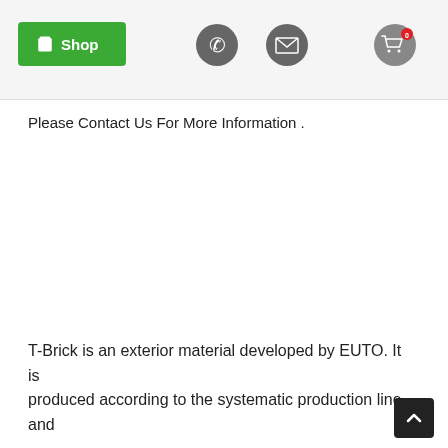Shop | Phone | Mail | Cart (0)
Please Contact Us For More Information .
T-Brick is an exterior material developed by EUTO. It is produced according to the systematic production line and